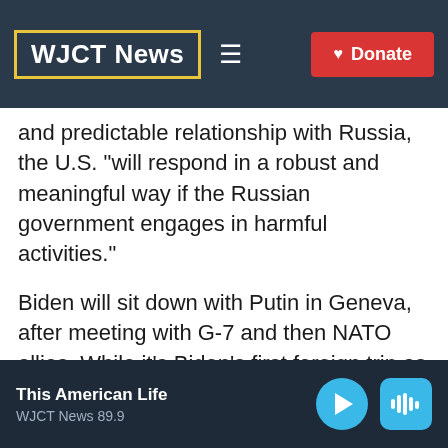WJCT News
and predictable relationship with Russia, the U.S. "will respond in a robust and meaningful way if the Russian government engages in harmful activities."
Biden will sit down with Putin in Geneva, after meeting with G-7 and then NATO allies. While it's Biden's first foreign trip as president, he is no stranger to the world stage, having met with many leaders over his political career, including experience in
This American Life
WJCT News 89.9